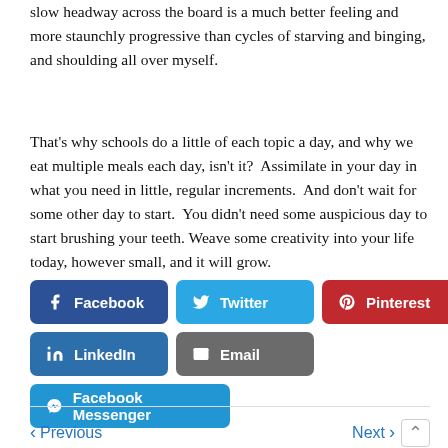slow headway across the board is a much better feeling and more staunchly progressive than cycles of starving and binging, and shoulding all over myself.
That's why schools do a little of each topic a day, and why we eat multiple meals each day, isn't it?  Assimilate in your day in what you need in little, regular increments.  And don't wait for some other day to start.  You didn't need some auspicious day to start brushing your teeth. Weave some creativity into your life today, however small, and it will grow.
[Figure (infographic): Social media share buttons: Facebook (dark blue), Twitter (light blue), Pinterest (red), LinkedIn (blue), Email (gray), Facebook Messenger (blue)]
< Previous    Next >